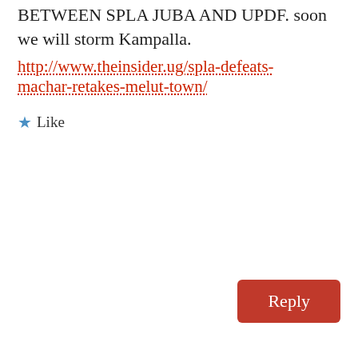BETWEEN SPLA JUBA AND UPDF. soon we will storm Kampalla.
http://www.theinsider.ug/spla-defeats-machar-retakes-melut-town/
Like
Reply
GatNor
May 22, 2015 at 2:53 am
You are right Torbar the picture displayed in that link is not look like Maluth at all.
Like
Reply